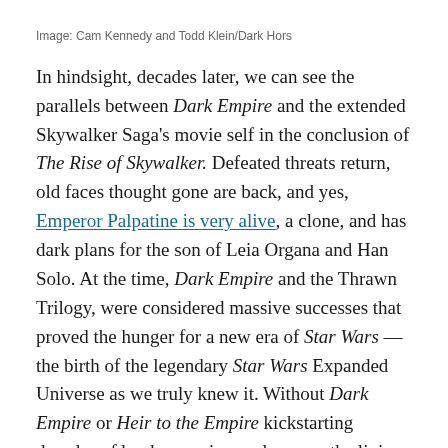Image: Cam Kennedy and Todd Klein/Dark Hors
In hindsight, decades later, we can see the parallels between Dark Empire and the extended Skywalker Saga's movie self in the conclusion of The Rise of Skywalker. Defeated threats return, old faces thought gone are back, and yes, Emperor Palpatine is very alive, a clone, and has dark plans for the son of Leia Organa and Han Solo. At the time, Dark Empire and the Thrawn Trilogy, were considered massive successes that proved the hunger for a new era of Star Wars — the birth of the legendary Star Wars Expanded Universe as we truly knew it. Without Dark Empire or Heir to the Empire kickstarting decades of books, comics, and games, the living history and future of the fictional galaxy far, far away would never have come to pass, its legacy secured in its keen influence on Lucasfilm's own renewed direct returns to Star Wars on film and on TV — even after the EU was declared non-canonically to be "Legends" after Disney's purchase of